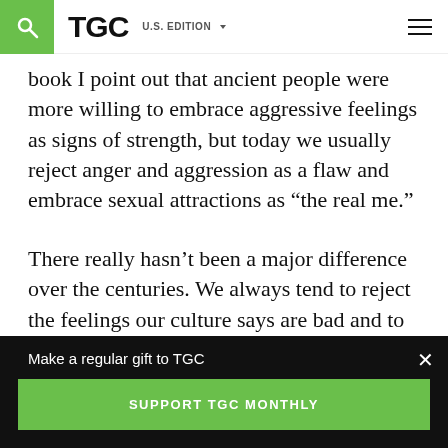TGC  U.S. EDITION
book I point out that ancient people were more willing to embrace aggressive feelings as signs of strength, but today we usually reject anger and aggression as a flaw and embrace sexual attractions as “the real me.”
There really hasn’t been a major difference over the centuries. We always tend to reject the feelings our culture says are bad and to embrace the ones our culture tells us are
Make a regular gift to TGC
SUPPORT TGC MONTHLY